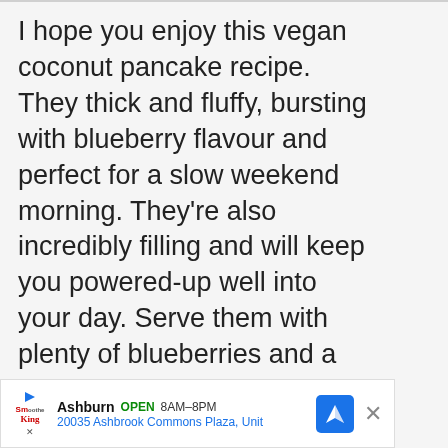I hope you enjoy this vegan coconut pancake recipe. They thick and fluffy, bursting with blueberry flavour and perfect for a slow weekend morning. They’re also incredibly filling and will keep you powered-up well into your day. Serve them with plenty of blueberries and a generous drizzle of coconut butter.
[Figure (other): Heart/favorite button (dark circle with heart icon) and share button (light circle with share icon)]
[Figure (other): What's Next card showing a food image thumbnail with text 'WHAT’S NEXT →' and 'Gluten-Free Vegan...']
[Figure (other): Advertisement banner for Smoothie King in Ashburn, showing OPEN 8AM-8PM, address 20035 Ashbrook Commons Plaza, Unit, with navigation icon and close button]